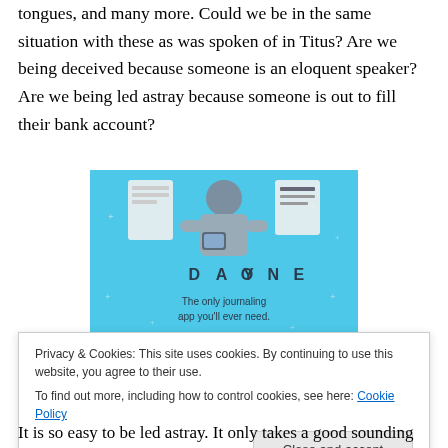tongues, and many more. Could we be in the same situation with these as was spoken of in Titus? Are we being deceived because someone is an eloquent speaker? Are we being led astray because someone is out to fill their bank account?
[Figure (illustration): Day One journaling app advertisement banner with blue background, cartoon figure holding a phone, with text 'DAY ONE' and 'The only journaling app you'll ever need.']
Privacy & Cookies: This site uses cookies. By continuing to use this website, you agree to their use.
To find out more, including how to control cookies, see here: Cookie Policy
It is so easy to be led astray. It only takes a good sounding